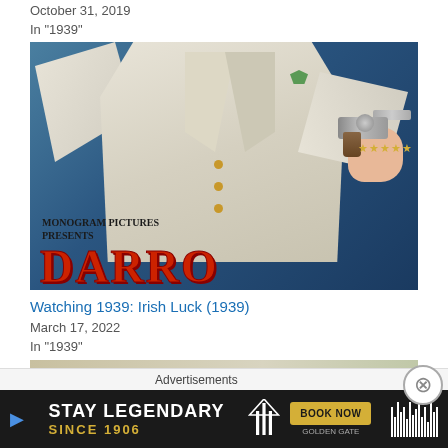October 31, 2019
In "1939"
[Figure (photo): Movie poster for a Monogram Pictures film showing a man in a white suit holding a revolver, with partial red text title letters visible at the bottom reading 'DARBO']
Watching 1939: Irish Luck (1939)
March 17, 2022
In "1939"
[Figure (photo): Partial movie poster with red text letters partially visible on a light tan/beige background]
Advertisements
[Figure (other): Advertisement banner for Golden Gate Hotel reading STAY LEGENDARY SINCE 1906 with BOOK NOW button]